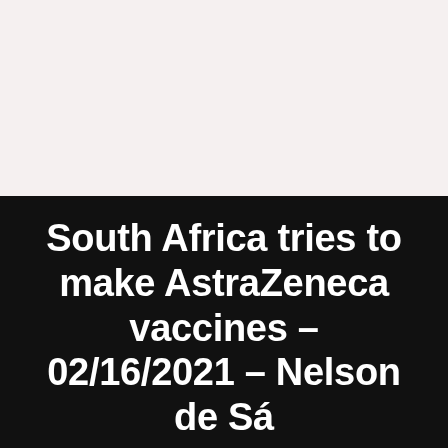South Africa tries to make AstraZeneca vaccines – 02/16/2021 – Nelson de Sá